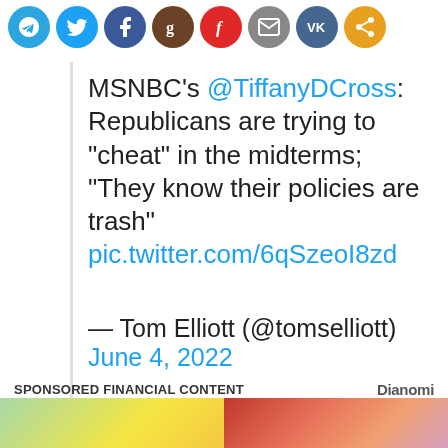[Figure (other): Row of social media share icons: Telegram (blue), Twitter (blue), Facebook (blue), Goodreads (brown), Flipboard (red), Email (gray), VK (blue), Share (orange)]
MSNBC's @TiffanyDCross: Republicans are trying to "cheat" in the midterms; "They know their policies are trash" pic.twitter.com/6qSzeoI8zd
— Tom Elliott (@tomselliott) June 4, 2022
SPONSORED FINANCIAL CONTENT
[Figure (photo): Two thumbnail images side by side at bottom of page - left is a green/yellow image, right is a red/pink storefront image]